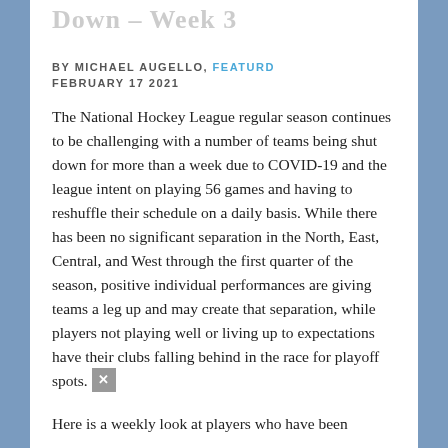Down – Week 3
BY MICHAEL AUGELLO, FEATURD
FEBRUARY 17 2021
The National Hockey League regular season continues to be challenging with a number of teams being shut down for more than a week due to COVID-19 and the league intent on playing 56 games and having to reshuffle their schedule on a daily basis. While there has been no significant separation in the North, East, Central, and West through the first quarter of the season, positive individual performances are giving teams a leg up and may create that separation, while players not playing well or living up to expectations have their clubs falling behind in the race for playoff spots.
Here is a weekly look at players who have been ...